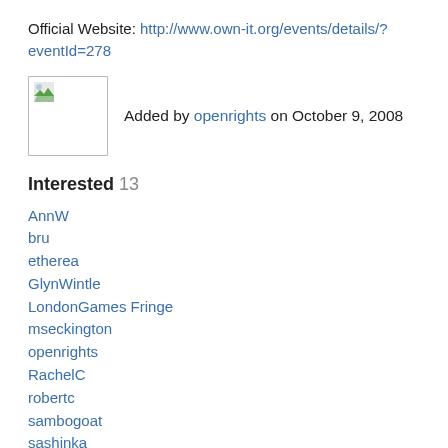Official Website: http://www.own-it.org/events/details/?eventId=278
Added by openrights on October 9, 2008
Interested 13
AnnW
bru
etherea
GlynWintle
LondonGames Fringe
mseckington
openrights
RachelC
robertc
sambogoat
sashinka
sheilaellen
UGCunion.org